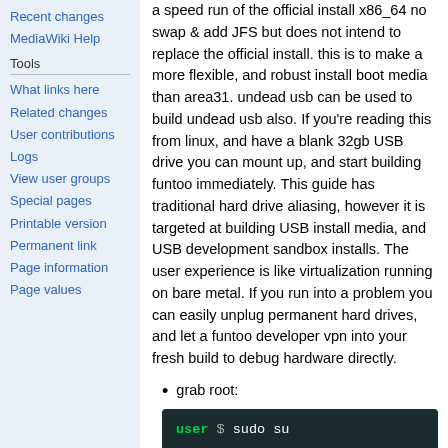Recent changes
MediaWiki Help
Tools
What links here
Related changes
User contributions
Logs
View user groups
Special pages
Printable version
Permanent link
Page information
Page values
a speed run of the official install x86_64 no swap & add JFS but does not intend to replace the official install. this is to make a more flexible, and robust install boot media than area31. undead usb can be used to build undead usb also. If you're reading this from linux, and have a blank 32gb USB drive you can mount up, and start building funtoo immediately. This guide has traditional hard drive aliasing, however it is targeted at building USB install media, and USB development sandbox installs. The user experience is like virtualization running on bare metal. If you run into a problem you can easily unplug permanent hard drives, and let a funtoo developer vpn into your fresh build to debug hardware directly.
grab root:
[Figure (screenshot): Terminal code block showing: user $ sudo su\nor]